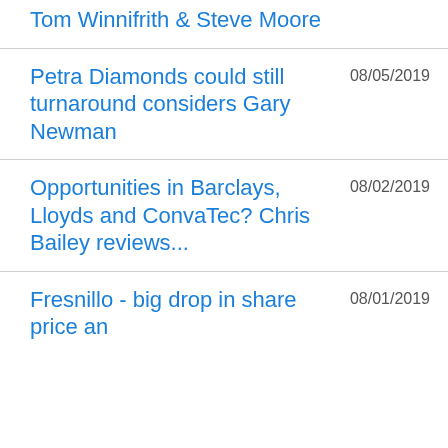Tom Winnifrith & Steve Moore
Petra Diamonds could still turnaround considers Gary Newman
Opportunities in Barclays, Lloyds and ConvaTec? Chris Bailey reviews...
Fresnillo - big drop in share price an